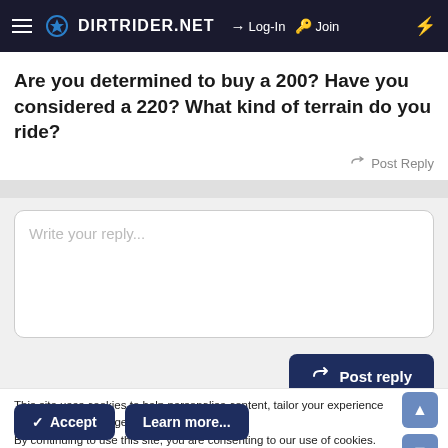DIRTRIDER.NET  Log-In  Join
Are you determined to buy a 200? Have you considered a 220? What kind of terrain do you ride?
Post Reply
Write your reply...
Post reply
This site uses cookies to help personalise content, tailor your experience and to keep you logged in if you register. By continuing to use this site, you are consenting to our use of cookies.
Accept  Learn more...